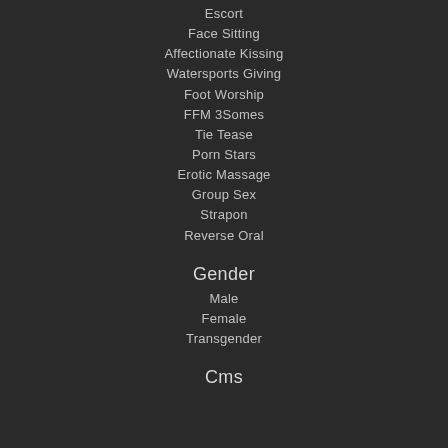Escort
Face Sitting
Affectionate Kissing
Watersports Giving
Foot Worship
FFM 3Somes
Tie Tease
Porn Stars
Erotic Massage
Group Sex
Strapon
Reverse Oral
Gender
Male
Female
Transgender
Cms